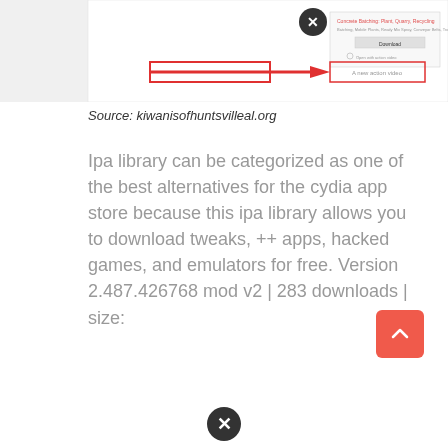[Figure (screenshot): Screenshot of a webpage showing a download dialog with a red close button (X) and red arrow annotations pointing to download elements. Contains text 'Concrete Batching: Plant, Quarry, Recycling' and a Download button.]
Source: kiwanisofhuntsvilleal.org
Ipa library can be categorized as one of the best alternatives for the cydia app store because this ipa library allows you to download tweaks, ++ apps, hacked games, and emulators for free. Version 2.487.426768 mod v2 | 283 downloads | size: